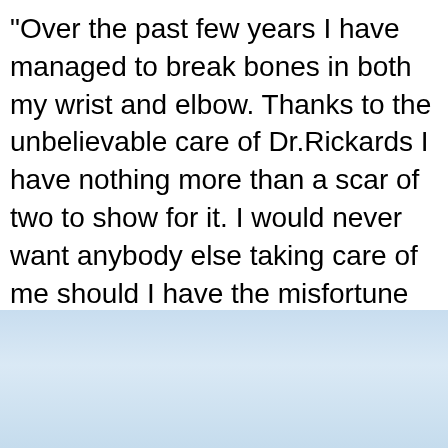“Over the past few years I have managed to break bones in both my wrist and elbow. Thanks to the unbelievable care of Dr.Rickards I have nothing more than a scar of two to show for it. I would never want anybody else taking care of me should I have the misfortune of breaking yet [...]
LA JOLLA/UTC
SOUTH BAY/CHULA